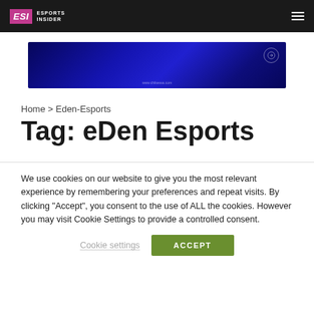ESI Esports Insider
[Figure (illustration): Blue gradient advertisement banner with circular icon on right and small URL text at bottom center reading www.chikessa.com]
Home > Eden-Esports
Tag: eDen Esports
We use cookies on our website to give you the most relevant experience by remembering your preferences and repeat visits. By clicking "Accept", you consent to the use of ALL the cookies. However you may visit Cookie Settings to provide a controlled consent.